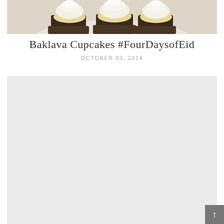[Figure (photo): Close-up photo of cupcakes with white frosting in dark chocolate cupcake liners, on a white plate, partially cropped at top of page]
Baklava Cupcakes #FourDaysofEid
OCTOBER 03, 2014
[Figure (other): Large light gray placeholder/advertisement block]